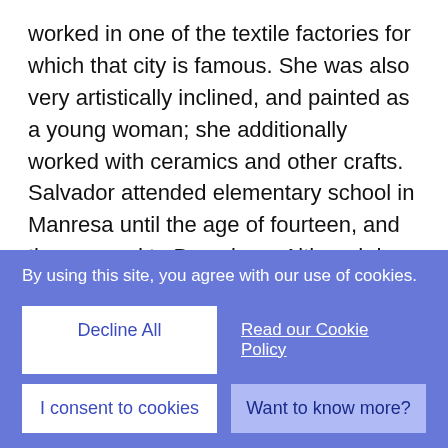worked in one of the textile factories for which that city is famous. She was also very artistically inclined, and painted as a young woman; she additionally worked with ceramics and other crafts. Salvador attended elementary school in Manresa until the age of fourteen, and then moved to Barcelona. Although he spent one year as a waiter on the Costa Brava, most of his early work was as a carpenter. As he increased his skills, he opened a carpentry workshop around 1978, and soon began teaching classes as well. He had had no formal art training but, having been influenced by his mother, he began to paint and draw a bit during this time. Although
By using this site, you agree with our use of cookies.
Decline All
Read our Cookie Policy
I consent to cookies
Want to know more?